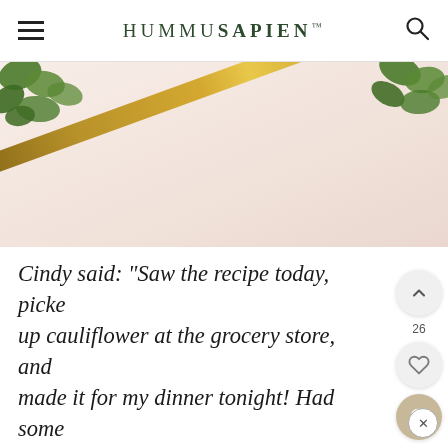HUMMUSAPIEN
[Figure (photo): Top-down photo showing a diagonal gold/brass utensil (spoon or chopstick) against a light pink/cream background, with fresh green parsley/herb leaves visible in the top-left and top-right corners.]
Cindy said: "Saw the recipe today, picked up cauliflower at the grocery store, and made it for my dinner tonight! Had some extra cooked carrots so tossed those in, too. I would especially encourage serve over black or red rice for a nice color contrast. YUM! Make a double batch of the